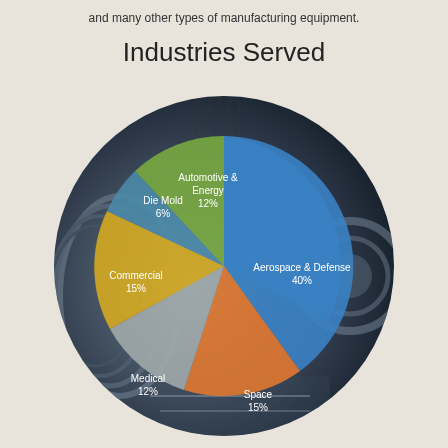and many other types of manufacturing equipment.
Industries Served
[Figure (pie-chart): Industries Served]